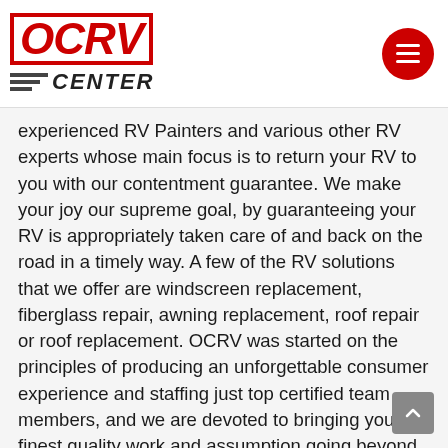OCRV CENTER
experienced RV Painters and various other RV experts whose main focus is to return your RV to you with our contentment guarantee. We make your joy our supreme goal, by guaranteeing your RV is appropriately taken care of and back on the road in a timely way. A few of the RV solutions that we offer are windscreen replacement, fiberglass repair, awning replacement, roof repair or roof replacement. OCRV was started on the principles of producing an unforgettable consumer experience and staffing just top certified team members, and we are devoted to bringing you the finest quality work and assumption going beyond consumer care. Forget the stress and anxiety of having your RV requiring to go to several shops, we do all aspects of accident under one roof. If you are searching for RV service shops near me or RV repair services near me, OCRV has you covered! If you have really been in a crash or need your RV taken care of,